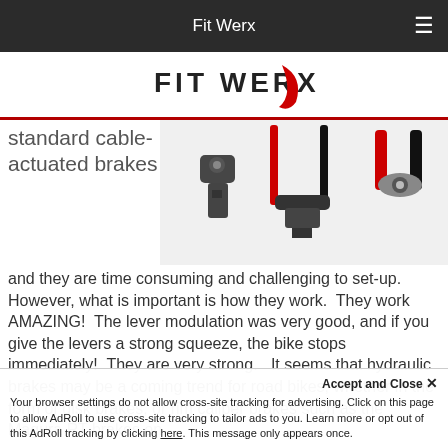Fit Werx
[Figure (logo): Fit Werx logo with stylized red swoosh]
[Figure (photo): Three bicycle brake calipers/levers shown side by side against white background]
standard cable-actuated brakes
and they are time consuming and challenging to set-up.   However, what is important is how they work.  They work AMAZING!  The lever modulation was very good, and if you give the levers a strong squeeze, the bike stops immediately!  They are very strong.   It seems that hydraulic brakes may be a coming trend for road bikes, whether in the form of disk brakes, or rim caliper brakes such as the Magura RT brakes on
Accept and Close ✕
Your browser settings do not allow cross-site tracking for advertising. Click on this page to allow AdRoll to use cross-site tracking to tailor ads to you. Learn more or opt out of this AdRoll tracking by clicking here. This message only appears once.